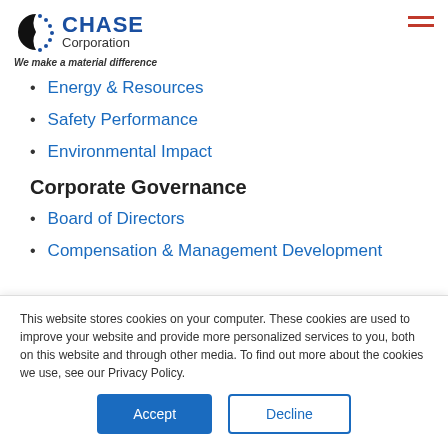Chase Corporation — We make a material difference
Energy & Resources
Safety Performance
Environmental Impact
Corporate Governance
Board of Directors
Compensation & Management Development
This website stores cookies on your computer. These cookies are used to improve your website and provide more personalized services to you, both on this website and through other media. To find out more about the cookies we use, see our Privacy Policy.